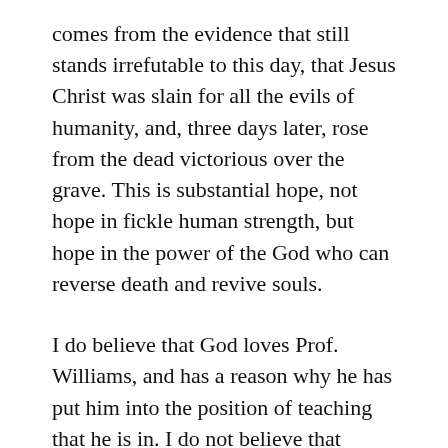comes from the evidence that still stands irrefutable to this day, that Jesus Christ was slain for all the evils of humanity, and, three days later, rose from the dead victorious over the grave. This is substantial hope, not hope in fickle human strength, but hope in the power of the God who can reverse death and revive souls.
I do believe that God loves Prof. Williams, and has a reason why he has put him into the position of teaching that he is in. I do not believe that people are given their roles in the world as an accident, but that God has appointed times and places for every human, given the history that they have had, so that